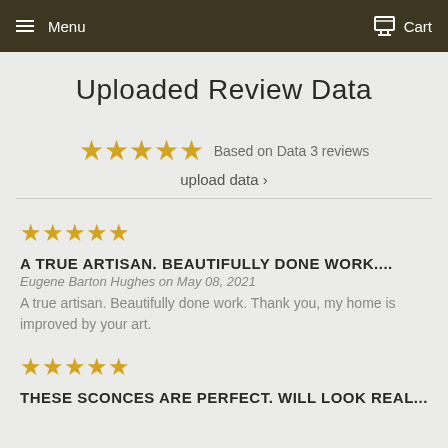Menu | Cart
Uploaded Review Data
Based on Data 3 reviews
upload data ›
A TRUE ARTISAN. BEAUTIFULLY DONE WORK.... Eugene Barton Hughes on May 08, 2021. A true artisan. Beautifully done work. Thank you, my home is improved by your art.
THESE SCONCES ARE PERFECT. WILL LOOK REAL...